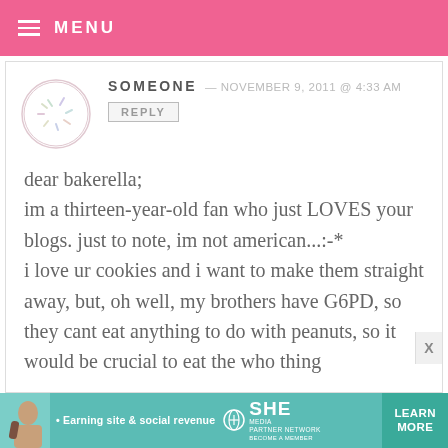MENU
SOMEONE — NOVEMBER 9, 2011 @ 4:33 AM
REPLY
dear bakerella;
im a thirteen-year-old fan who just LOVES your blogs. just to note, im not american...:-*
i love ur cookies and i want to make them straight away, but, oh well, my brothers have G6PD, so they cant eat anything to do with peanuts, so it would be crucial to eat the who thing
[Figure (infographic): SHE Partner Network advertisement banner with woman photo, text: Earning site & social revenue, SHE MEDIA, PARTNER NETWORK, BECOME A MEMBER, LEARN MORE button]